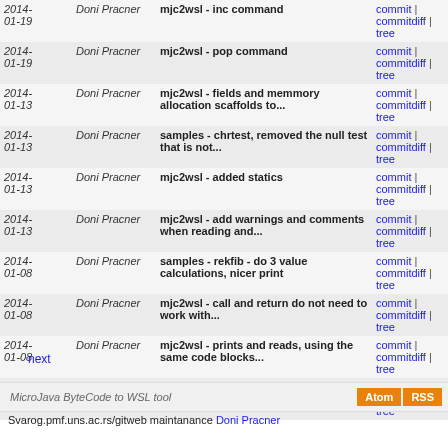| Date | Author | Message | Links |
| --- | --- | --- | --- |
| 2014-01-19 | Doni Pracner | mjc2wsl - inc command | commit | commitdiff | tree |
| 2014-01-19 | Doni Pracner | mjc2wsl - pop command | commit | commitdiff | tree |
| 2014-01-13 | Doni Pracner | mjc2wsl - fields and memmory allocation scaffolds to... | commit | commitdiff | tree |
| 2014-01-13 | Doni Pracner | samples - chrtest, removed the null test that is not... | commit | commitdiff | tree |
| 2014-01-13 | Doni Pracner | mjc2wsl - added statics | commit | commitdiff | tree |
| 2014-01-13 | Doni Pracner | mjc2wsl - add warnings and comments when reading and... | commit | commitdiff | tree |
| 2014-01-08 | Doni Pracner | samples - rekfib - do 3 value calculations, nicer print | commit | commitdiff | tree |
| 2014-01-08 | Doni Pracner | mjc2wsl - call and return do not need to work with... | commit | commitdiff | tree |
| 2014-01-08 | Doni Pracner | mjc2wsl - prints and reads, using the same code blocks... | commit | commitdiff | tree |
| 2014-01-08 | Doni Pracner | mjc2wsl - enter/exit proper storage of local variables... | commit | commitdiff | tree |
next
MicroJava ByteCode to WSL tool
Svarog.pmf.uns.ac.rs/gitweb maintanance Doni Pracner